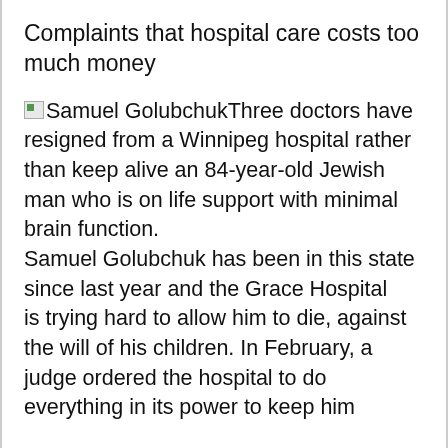Complaints that hospital care costs too much money
Samuel GolubchukThree doctors have resigned from a Winnipeg hospital rather than keep alive an 84-year-old Jewish man who is on life support with minimal brain function. Samuel Golubchuk has been in this state since last year and the Grace Hospital is trying hard to allow him to die, against the will of his children. In February, a judge ordered the hospital to do everything in its power to keep him